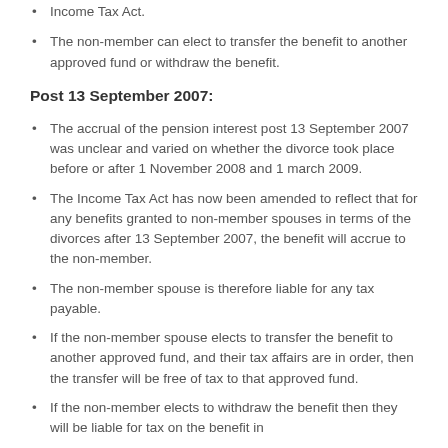Income Tax Act.
The non-member can elect to transfer the benefit to another approved fund or withdraw the benefit.
Post 13 September 2007:
The accrual of the pension interest post 13 September 2007 was unclear and varied on whether the divorce took place before or after 1 November 2008 and 1 march 2009.
The Income Tax Act has now been amended to reflect that for any benefits granted to non-member spouses in terms of the divorces after 13 September 2007, the benefit will accrue to the non-member.
The non-member spouse is therefore liable for any tax payable.
If the non-member spouse elects to transfer the benefit to another approved fund, and their tax affairs are in order, then the transfer will be free of tax to that approved fund.
If the non-member elects to withdraw the benefit then they will be liable for tax on the benefit in